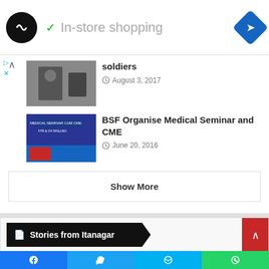[Figure (screenshot): Ad banner: In-store shopping with logo and navigation icon]
soldiers
August 3, 2017
BSF Organise Medical Seminar and CME
June 20, 2016
Show More
Stories from Itanagar
[Figure (screenshot): Social share bar with Facebook, Twitter, Messenger, WhatsApp buttons]